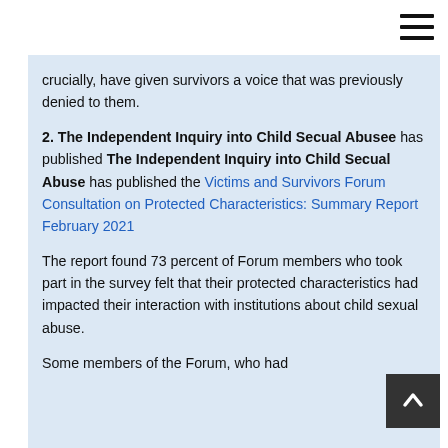crucially, have given survivors a voice that was previously denied to them.
2. The Independent Inquiry into Child Secual Abusee has published The Independent Inquiry into Child Secual Abuse has published the Victims and Survivors Forum Consultation on Protected Characteristics: Summary Report February 2021
The report found 73 percent of Forum members who took part in the survey felt that their protected characteristics had impacted their interaction with institutions about child sexual abuse.
Some members of the Forum, who had